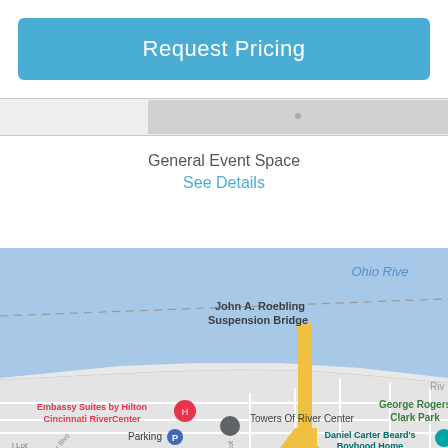Request Pricing
General Event Space
See Details
[Figure (map): Google Maps screenshot showing the area around Towers Of River Center near the Ohio River in Covington, KY. Shows John A. Roebling Suspension Bridge, Embassy Suites by Hilton Cincinnati RiverCenter, George Rogers Clark Park, Daniel Carter Beard's Boyhood Home, and Parking. A yellow road runs vertically through the map. The Ohio River and blue water area is visible in the upper portion.]